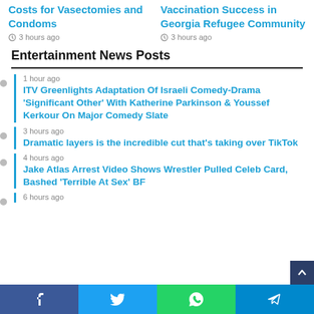Costs for Vasectomies and Condoms
3 hours ago
Vaccination Success in Georgia Refugee Community
3 hours ago
Entertainment News Posts
1 hour ago
ITV Greenlights Adaptation Of Israeli Comedy-Drama 'Significant Other' With Katherine Parkinson & Youssef Kerkour On Major Comedy Slate
3 hours ago
Dramatic layers is the incredible cut that's taking over TikTok
4 hours ago
Jake Atlas Arrest Video Shows Wrestler Pulled Celeb Card, Bashed 'Terrible At Sex' BF
6 hours ago